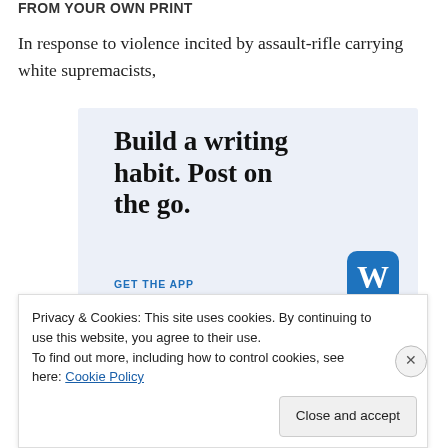FROM YOUR OWN PRINT
In response to violence incited by assault-rifle carrying white supremacists,
[Figure (illustration): WordPress advertisement with light blue background. Large bold serif text reads 'Build a writing habit. Post on the go.' Below is 'GET THE APP' in blue uppercase letters, and a WordPress logo icon (blue circle with 'W') in the bottom right corner.]
Privacy & Cookies: This site uses cookies. By continuing to use this website, you agree to their use.
To find out more, including how to control cookies, see here: Cookie Policy
Close and accept